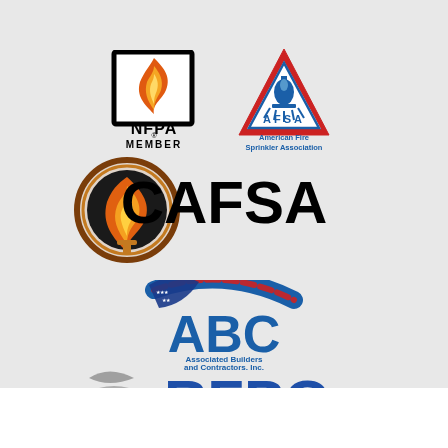[Figure (logo): NFPA Member logo - black square with flame symbol and NFPA MEMBER text]
[Figure (logo): AFSA American Fire Sprinkler Association logo - red triangle with sprinkler head icon]
[Figure (logo): CAFSA logo - orange/fire circular emblem with CAFSA text in black]
[Figure (logo): ABC Associated Builders and Contractors Inc logo - American flag swoosh over ABC letters in blue]
[Figure (logo): RFPG logo - blue RFPG letters with grey wave/swoosh on left]